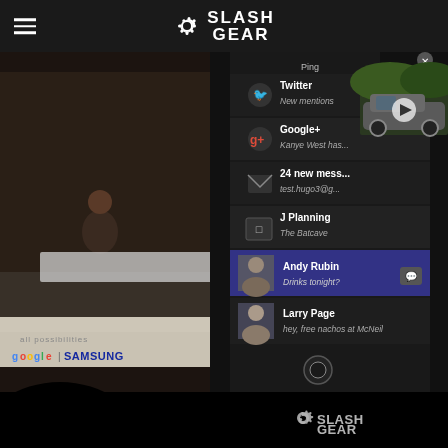SlashGear
[Figure (photo): Screenshot of a Google/Samsung conference stage presentation showing Android notification panel on a large projected screen, with silhouettes of audience members in foreground. The notification panel shows Twitter (New mentions), Google+ (Kanye West has...), 24 new messages (test.hugo3@g...), J Planning (The Batcave), Andy Rubin (Drinks tonight?), Larry Page (hey, free nachos at McNeil). An inset video thumbnail in the upper-right shows a Cadillac electric SUV on a road. The SlashGear watermark is visible at the bottom right.]